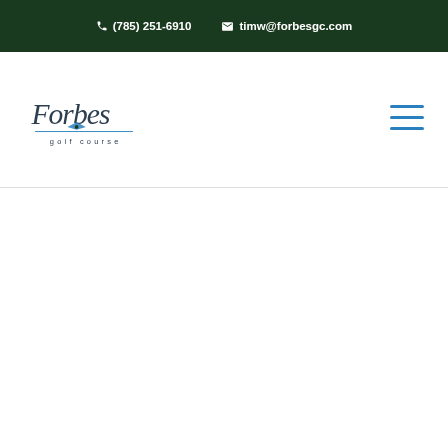(785) 251-6910   timw@forbesgc.com
[Figure (logo): Forbes Golf Course cursive logo with airplane graphic and 'golf course' text below]
[Figure (other): Hamburger menu icon with three horizontal teal/blue lines]